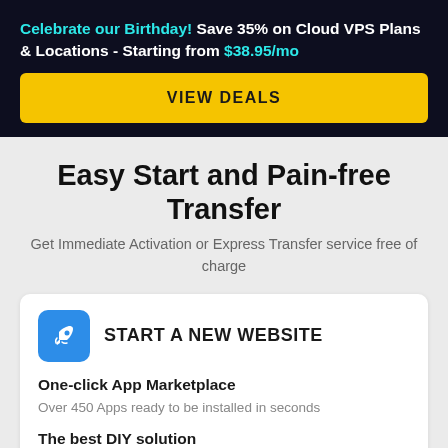Celebrate our Birthday! Save 35% on Cloud VPS Plans & Locations - Starting from $38.95/mo
VIEW DEALS
Easy Start and Pain-free Transfer
Get Immediate Activation or Express Transfer service free of charge
START A NEW WEBSITE
One-click App Marketplace
Over 450 Apps ready to be installed in seconds
The best DIY solution
20+ Frameworks and your favorite dev tools